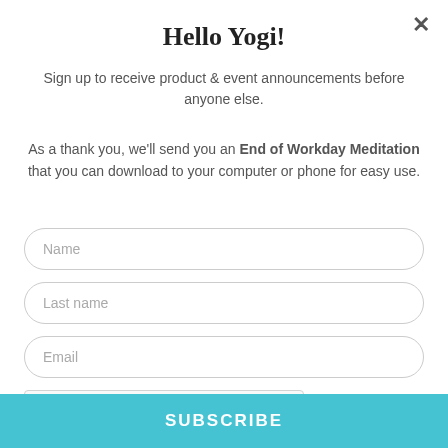Hello Yogi!
Sign up to receive product & event announcements before anyone else.
As a thank you, we'll send you an End of Workday Meditation that you can download to your computer or phone for easy use.
Name
Last name
Email
[Figure (screenshot): reCAPTCHA widget with checkbox, 'I'm not a robot' label, and reCAPTCHA logo with Privacy and Terms links]
SUBSCRIBE